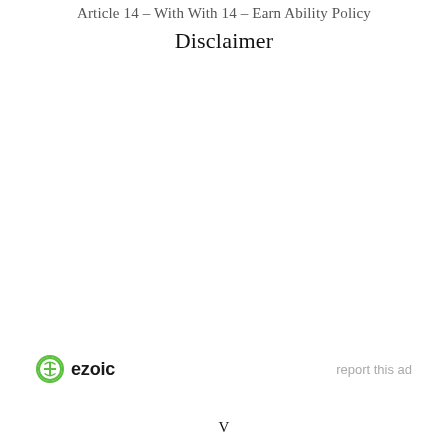Article 14 – With With 14 – Earn Ability Policy
Disclaimer
[Figure (logo): Ezoic logo with green circular icon and bold text 'ezoic', alongside 'report this ad' link in light gray]
V